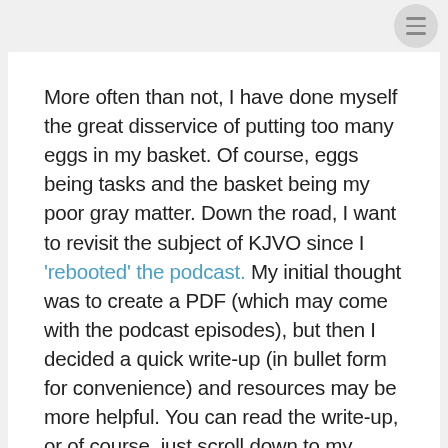More often than not, I have done myself the great disservice of putting too many eggs in my basket. Of course, eggs being tasks and the basket being my poor gray matter. Down the road, I want to revisit the subject of KJVO since I ‘rebooted’ the podcast. My initial thought was to create a PDF (which may come with the podcast episodes), but then I decided a quick write-up (in bullet form for convenience) and resources may be more helpful. You can read the write-up, or of course, just scroll down to my suggested resources.